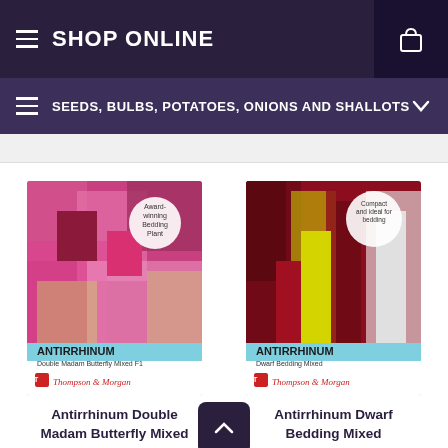SHOP ONLINE
SEEDS, BULBS, POTATOES, ONIONS AND SHALLOTS
[Figure (photo): Thompson & Morgan seed packet for Antirrhinum Double Madam Butterfly Mixed F1 – shows colourful snapdragon flowers with 'Award-winning Bedding Plant' badge]
Antirrhinum Double Madam Butterfly Mixed
[Figure (photo): Thompson & Morgan seed packet for Antirrhinum Dwarf Bedding Mixed – shows compact red, yellow and white snapdragon flowers with 'Compact and ideal for bedding' badge]
Antirrhinum Dwarf Bedding Mixed